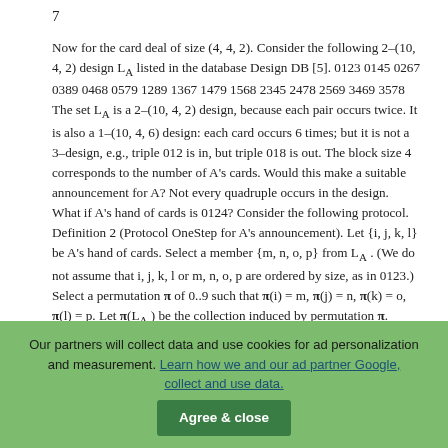7
Now for the card deal of size (4, 4, 2). Consider the following 2–(10, 4, 2) design LA listed in the database Design DB [5]. 0123 0145 0267 0389 0468 0579 1289 1367 1479 1568 2345 2478 2569 3469 3578 The set LA is a 2–(10, 4, 2) design, because each pair occurs twice. It is also a 1–(10, 4, 6) design: each card occurs 6 times; but it is not a 3–design, e.g., triple 012 is in, but triple 018 is out. The block size 4 corresponds to the number of A's cards. Would this make a suitable announcement for A? Not every quadruple occurs in the design. What if A's hand of cards is 0124? Consider the following protocol. Definition 2 (Protocol OneStep for A's announcement). Let {i, j, k, l} be A's hand of cards. Select a member {m, n, o, p} from LA . (We do not assume that i, j, k, l or m, n, o, p are ordered by size, as in 0123.) Select a permutation π of 0..9 such that π(i) = m, π(j) = n, π(k) = o, π(l) = p. Let π(LA ) be the collection induced by permutation π. Player A announces π(LA ). (I.e., A says: "My hand of cards is one of π(LA ).") This is a knowledge-based protocol, because A knows her hand of cards. If 0123 is A's
Our partners will collect data and use cookies for ad personalization and measurement. Learn how we and our ad partner Google, collect and use data.
Agree & close